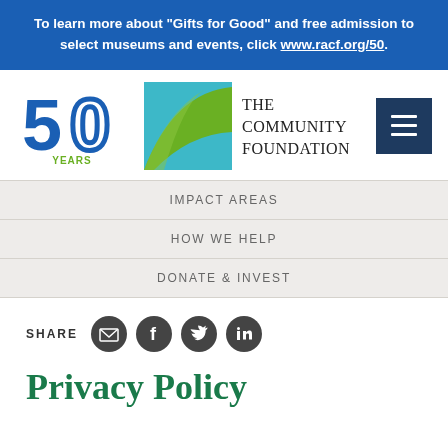To learn more about “Gifts for Good” and free admission to select museums and events, click www.racf.org/50.
[Figure (logo): The Community Foundation 50 Years anniversary logo with teal and green swoosh graphic]
[Figure (other): Hamburger menu button (three horizontal white lines on dark navy background)]
IMPACT AREAS
HOW WE HELP
DONATE & INVEST
SHARE (with email, Facebook, Twitter, LinkedIn icons)
Privacy Policy